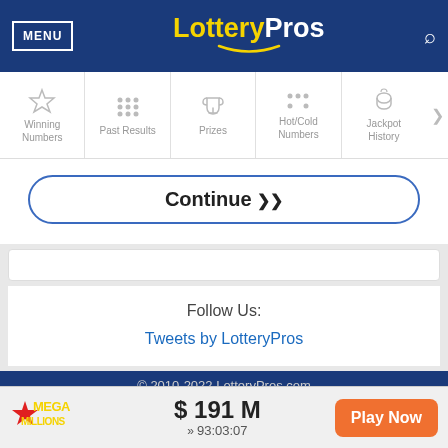MENU | LotteryPros
Winning Numbers
Past Results
Prizes
Hot/Cold Numbers
Jackpot History
Continue
Follow Us:
Tweets by LotteryPros
© 2010-2022 LotteryPros.com
MEGA MILLIONS  $191 M  93:03:07  Play Now